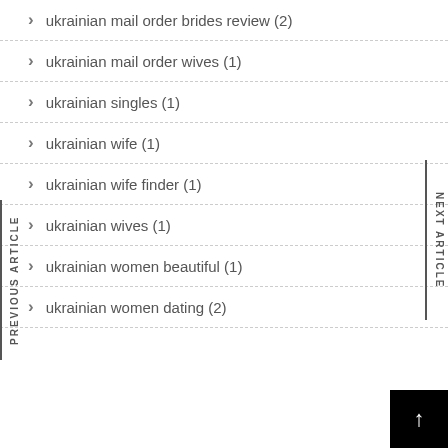ukrainian mail order brides review (2)
ukrainian mail order wives (1)
ukrainian singles (1)
ukrainian wife (1)
ukrainian wife finder (1)
ukrainian wives (1)
ukrainian women beautiful (1)
ukrainian women dating (2)